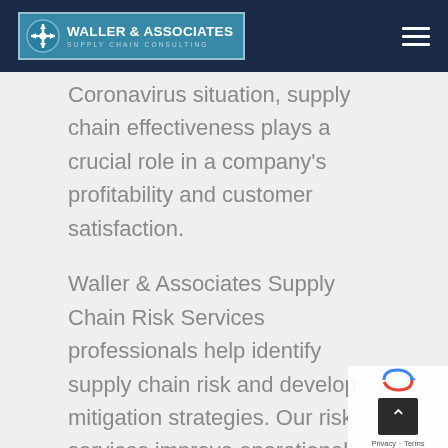Waller & Associates Supply Chain Consulting
Coronavirus situation, supply chain effectiveness plays a crucial role in a company’s profitability and customer satisfaction.
Waller & Associates Supply Chain Risk Services professionals help identify supply chain risk and develop mitigation strategies. Our risk services improve operational performance and effectiveness while reducing risks associated